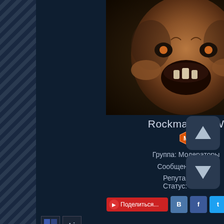[Figure (photo): Profile photo showing a grotesque creature face with open mouth, brownish tones]
Rockman RMW
🛡️ [moderator badge icon]
Группа: Модераторы
Сообщений: 2505
Репутация: 48
Статус: Offline
[Figure (screenshot): Social sharing buttons row: Поделиться..., VK, Facebook, Twitter, OK, Mail]
[Figure (screenshot): Two small icon buttons below sharing row]
Об ошибках и нерабочих ссылках пишите сюда
Error and non-working links write here
Материал предназначен для ознакомления!
Если вам понравился альбом, купите диск в магазине.